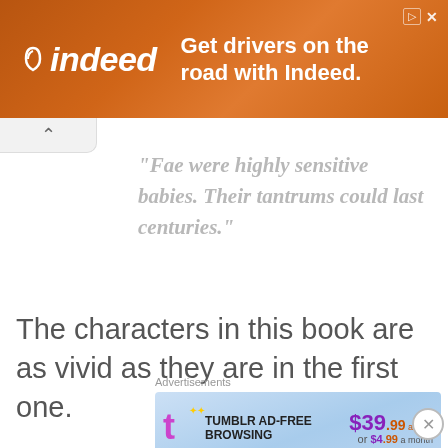[Figure (screenshot): Indeed advertisement banner: orange gradient background with Indeed logo and text 'Get drivers on the road with Indeed.']
"Fae were highly sensitive babies. Their tantrums could last centuries."
The characters in this book are as vivid as they are in the first one.
Advertisements
[Figure (screenshot): Tumblr Ad-Free Browsing advertisement: $39.99 a year or $4.99 a month, blue gradient background with Tumblr T logo]
Advertisements
[Figure (screenshot): WordPress advertisement: Create immersive stories. GET THE APP with WordPress logo, green gradient background]